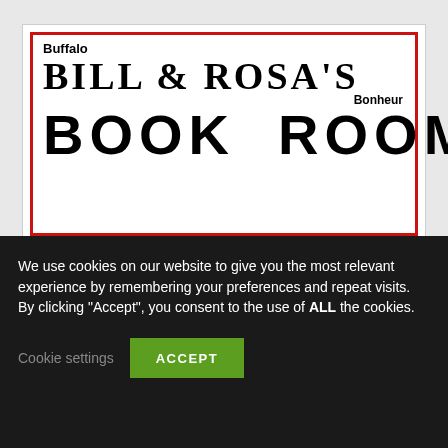[Figure (photo): Buffalo Bill & Rosa's Bonheur Book Room sign — decorative western-style signage with red border, large ornamental text reading 'BILL & ROSA'S' and bold block text 'BOOK ROOM']
We use cookies on our website to give you the most relevant experience by remembering your preferences and repeat visits. By clicking “Accept”, you consent to the use of ALL the cookies.
Cookie settings
ACCEPT